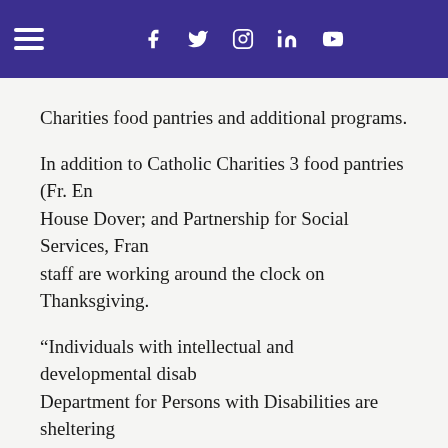Navigation bar with hamburger menu, Facebook, Twitter, Instagram, LinkedIn, YouTube icons
Charities food pantries and additional programs.
In addition to Catholic Charities 3 food pantries (Fr. En... House Dover; and Partnership for Social Services, Frank... staff are working around the clock on Thanksgiving.
“Individuals with intellectual and developmental disab... Department for Persons with Disabilities are sheltering... group homes and supervised apartments, while dedic... support, friendship, and delicious food.  At Straight and... are choosing recovery and staying within the program... Straight and Narrow residential life counselors are pro... holiday to be an uplifting presence.  We thank our stat... Charities for all they have done and continue to be...